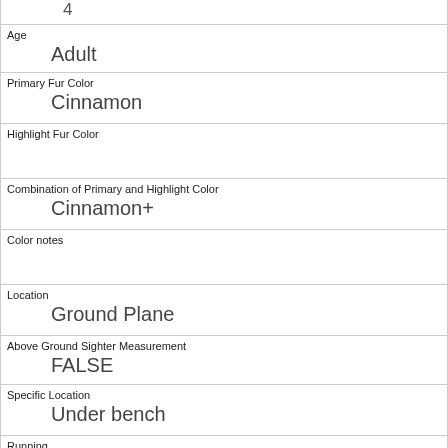| 4 |
| Age | Adult |
| Primary Fur Color | Cinnamon |
| Highlight Fur Color |  |
| Combination of Primary and Highlight Color | Cinnamon+ |
| Color notes |  |
| Location | Ground Plane |
| Above Ground Sighter Measurement | FALSE |
| Specific Location | Under bench |
| Running | 0 |
| Chasing | 0 |